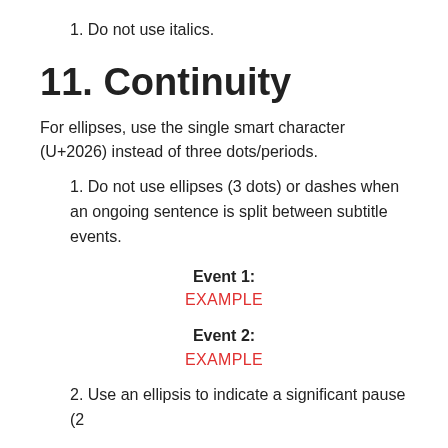1. Do not use italics.
11. Continuity
For ellipses, use the single smart character (U+2026) instead of three dots/periods.
1. Do not use ellipses (3 dots) or dashes when an ongoing sentence is split between subtitle events.
Event 1:
EXAMPLE
Event 2:
EXAMPLE
2. Use an ellipsis to indicate a significant pause (2